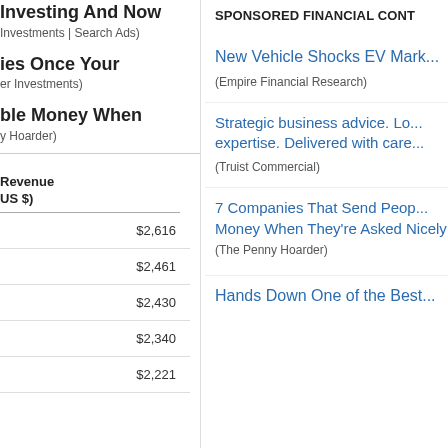Investing And Now
Investments | Search Ads)
ies Once Your
er Investments)
ble Money When
y Hoarder)
Revenue
US $)
| Revenue (US $) |
| --- |
| $2,616 |
| $2,461 |
| $2,430 |
| $2,340 |
| $2,221 |
SPONSORED FINANCIAL CONT...
New Vehicle Shocks EV Mark...
(Empire Financial Research)
Strategic business advice. Lo... expertise. Delivered with care...
(Truist Commercial)
7 Companies That Send Peop... Money When They're Asked Nicely (The Penny Hoarder)
Hands Down One of the Best...